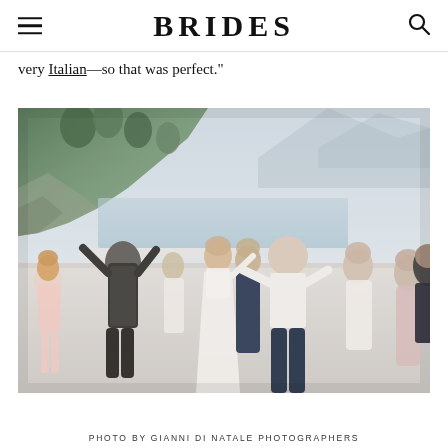BRIDES
very Italian—so that was perfect."
[Figure (photo): Wedding reception dance scene outdoors on a terrace with an Italian coastal landscape backdrop. A bride in white, groom in white shirt and navy trousers, bridesmaids in navy and blush pink, and guests dancing. Rocky cliffside with Mediterranean vegetation visible in background.]
PHOTO BY GIANNI DI NATALE PHOTOGRAPHERS